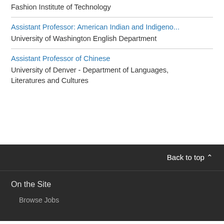Fashion Institute of Technology
Assistant Professor: American Indian and Indigeno...
University of Washington English Department
Assistant Professor of Chinese
University of Denver - Department of Languages, Literatures and Cultures
Back to top ^
On the Site
Browse Jobs